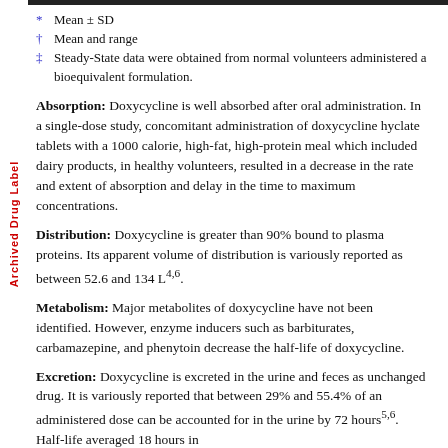* Mean ± SD
† Mean and range
‡ Steady-State data were obtained from normal volunteers administered a bioequivalent formulation.
Absorption: Doxycycline is well absorbed after oral administration. In a single-dose study, concomitant administration of doxycycline hyclate tablets with a 1000 calorie, high-fat, high-protein meal which included dairy products, in healthy volunteers, resulted in a decrease in the rate and extent of absorption and delay in the time to maximum concentrations.
Distribution: Doxycycline is greater than 90% bound to plasma proteins. Its apparent volume of distribution is variously reported as between 52.6 and 134 L4,6.
Metabolism: Major metabolites of doxycycline have not been identified. However, enzyme inducers such as barbiturates, carbamazepine, and phenytoin decrease the half-life of doxycycline.
Excretion: Doxycycline is excreted in the urine and feces as unchanged drug. It is variously reported that between 29% and 55.4% of an administered dose can be accounted for in the urine by 72 hours5,6. Half-life averaged 18 hours in